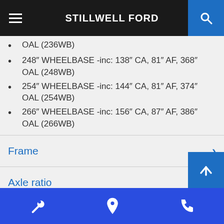STILLWELL FORD
OAL (236WB)
248" WHEELBASE -inc: 138" CA, 81" AF, 368" OAL (248WB)
254" WHEELBASE -inc: 144" CA, 81" AF, 374" OAL (254WB)
266" WHEELBASE -inc: 156" CA, 87" AF, 386" OAL (266WB)
Frame
Axle ratio
Front axle
Front suspension
Rear suspension
Stillwell Ford bottom navigation bar